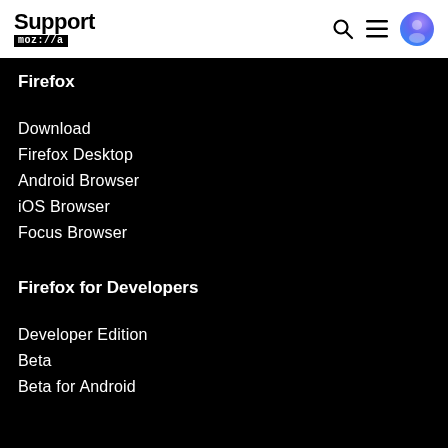Support mozilla // a
Firefox
Download
Firefox Desktop
Android Browser
iOS Browser
Focus Browser
Firefox for Developers
Developer Edition
Beta
Beta for Android